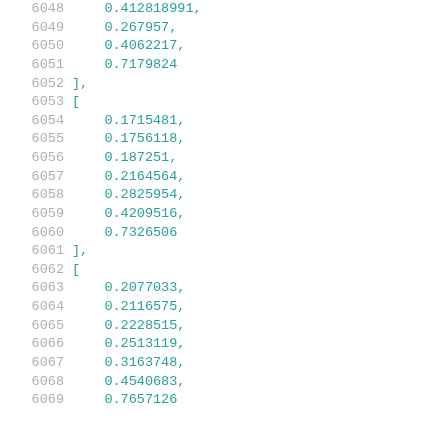Code listing showing numeric array data with line numbers 6048-6069
6048:    0.412818991,
6049:    0.267957,
6050:    0.4062217,
6051:    0.7179824
6052: ],
6053: [
6054:    0.1715481,
6055:    0.1756118,
6056:    0.187251,
6057:    0.2164564,
6058:    0.2825954,
6059:    0.4209516,
6060:    0.7326506
6061: ],
6062: [
6063:    0.2077033,
6064:    0.2116575,
6065:    0.2228515,
6066:    0.2513119,
6067:    0.3163748,
6068:    0.4540683,
6069:    0.7657126